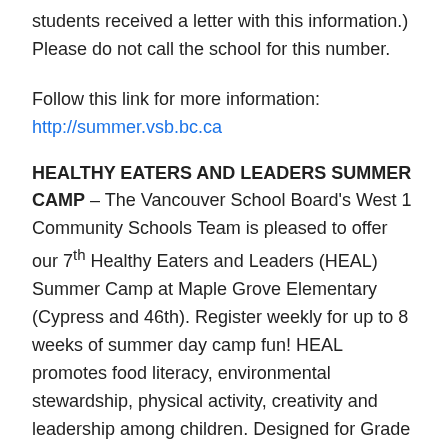students received a letter with this information.) Please do not call the school for this number.
Follow this link for more information: http://summer.vsb.bc.ca
HEALTHY EATERS AND LEADERS SUMMER CAMP – The Vancouver School Board's West 1 Community Schools Team is pleased to offer our 7th Healthy Eaters and Leaders (HEAL) Summer Camp at Maple Grove Elementary (Cypress and 46th). Register weekly for up to 8 weeks of summer day camp fun! HEAL promotes food literacy, environmental stewardship, physical activity, creativity and leadership among children. Designed for Grade 1 to 7 students, HEAL activities include preparing healthy lunches daily, gardening, games, science, art and fantastic day trips such as Vancouver Aquarium and